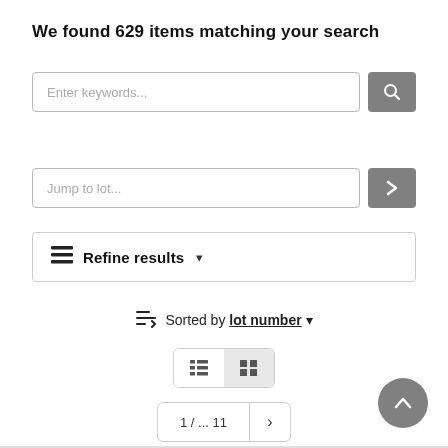We found 629 items matching your search
Enter keywords...
Jump to lot...
Refine results ▼
Sorted by lot number ▼
1 / ... 11